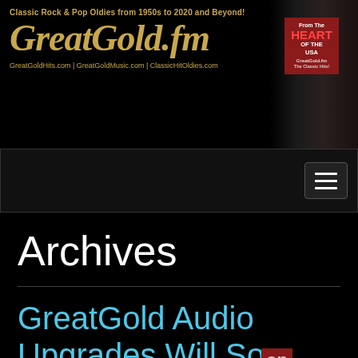[Figure (logo): GreatGold.fm website banner with logo text, tagline 'Classic Rock & Pop Oldies from 1950s to 2020 and Beyond!', URLs, and a heart badge reading 'From The HEART OF THE USA GreatGold.fm']
[Figure (screenshot): Navigation bar with hamburger menu icon (three horizontal lines) on dark background]
Archives
GreatGold Audio Upgrades Will Soon Include LIVE365